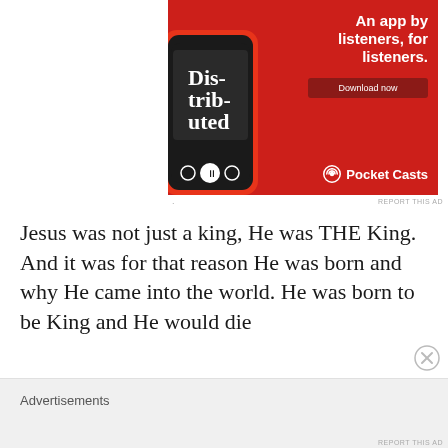[Figure (screenshot): Pocket Casts podcast app advertisement on red background. Shows a smartphone displaying the 'Distributed' podcast episode. Text reads 'An app by listeners, for listeners.' with a 'Download now' button and the Pocket Casts logo at the bottom.]
REPORT THIS AD
Jesus was not just a king, He was THE King. And it was for that reason He was born and why He came into the world. He was born to be King and He would die
Advertisements
REPORT THIS AD